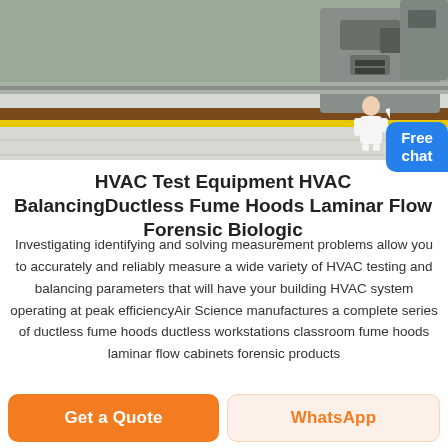[Figure (photo): Industrial HVAC equipment on a factory floor with yellow safety line stripe on ground, large gray metal duct components visible]
HVAC Test Equipment HVAC BalancingDuctless Fume Hoods Laminar Flow Forensic Biologic
Investigating identifying and solving measurement problems allow you to accurately and reliably measure a wide variety of HVAC testing and balancing parameters that will have your building HVAC system operating at peak efficiencyAir Science manufactures a complete series of ductless fume hoods ductless workstations classroom fume hoods laminar flow cabinets forensic products
Get a Quote
WhatsApp